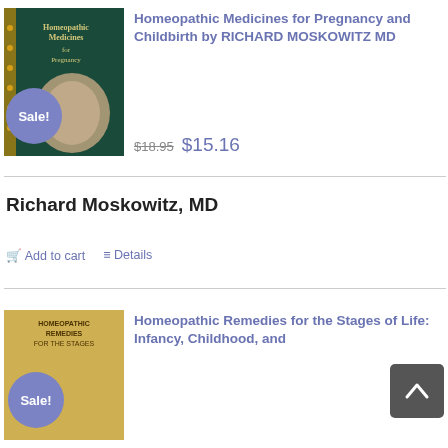[Figure (photo): Book cover for Homeopathic Medicines for Pregnancy and Childbirth with a Sale! badge overlay]
Homeopathic Medicines for Pregnancy and Childbirth by RICHARD MOSKOWITZ MD
$18.95  $15.16
Richard Moskowitz, MD
Add to cart   Details
[Figure (photo): Book cover for Homeopathic Remedies for the Stages of Life: Infancy, Childhood, and ... with a Sale! badge overlay]
Homeopathic Remedies for the Stages of Life: Infancy, Childhood, and